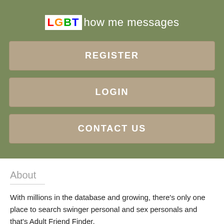[Figure (logo): LGBT logo box with rainbow colored letters followed by 'how me messages' text in white on olive green background]
REGISTER
LOGIN
CONTACT US
About
With millions in the database and growing, there's only one place to search swinger personal and sex personals and that's Adult Friend Finder.
Bathsheba